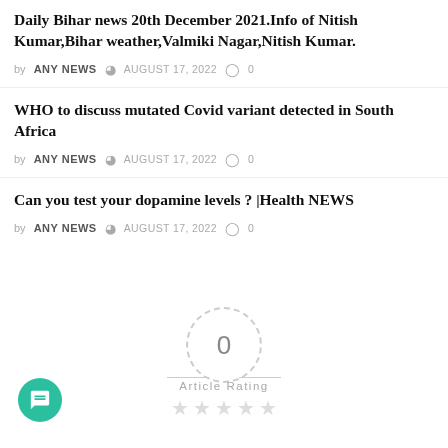Daily Bihar news 20th December 2021.Info of Nitish Kumar,Bihar weather,Valmiki Nagar,Nitish Kumar.
by ANY NEWS  AUGUST 17, 2022  0
WHO to discuss mutated Covid variant detected in South Africa
by ANY NEWS  AUGUST 17, 2022  0
Can you test your dopamine levels ? |Health NEWS
by ANY NEWS  AUGUST 17, 2022  0
[Figure (infographic): Article rating widget showing a dashed circle with 0 in center, two short horizontal dashes on sides, 'Article Rating' label below, and five empty star icons beneath]